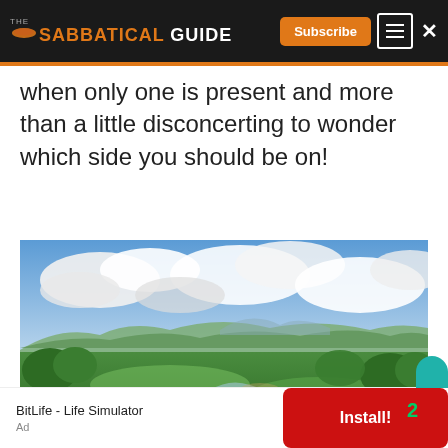THE SABBATICAL GUIDE — Subscribe
when only one is present and more than a little disconcerting to wonder which side you should be on!
[Figure (photo): Aerial panoramic landscape photo showing a wide green valley with lush trees, a river or stream, fields, and mountains in the background under a dramatic cloudy sky.]
BitLife - Life Simulator
Ad